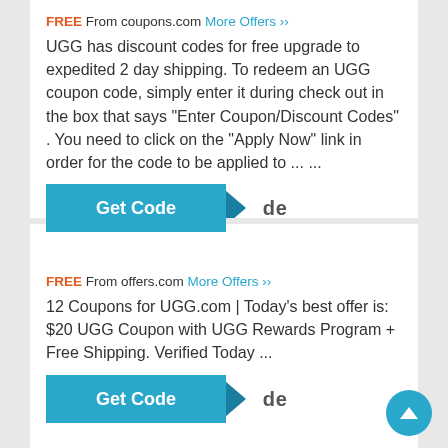FREE From coupons.com More Offers »»
UGG has discount codes for free upgrade to expedited 2 day shipping. To redeem an UGG coupon code, simply enter it during check out in the box that says "Enter Coupon/Discount Codes" . You need to click on the "Apply Now" link in order for the code to be applied to ... ...
Get Code de
FREE From offers.com More Offers »»
12 Coupons for UGG.com | Today's best offer is: $20 UGG Coupon with UGG Rewards Program + Free Shipping. Verified Today ...
Get Code de